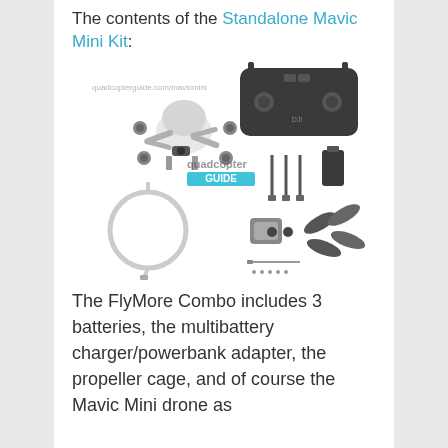The contents of the Standalone Mavic Mini Kit:
[Figure (photo): Product photo showing contents of the Standalone Mavic Mini Kit including the Mavic Mini drone, remote controller, battery, charging cable, propeller guards, and accessories. Watermarked with quadcopterguide.com/mavicmini and quadcopter GUIDE logo.]
The FlyMore Combo includes 3 batteries, the multibattery charger/powerbank adapter, the propeller cage, and of course the Mavic Mini drone as